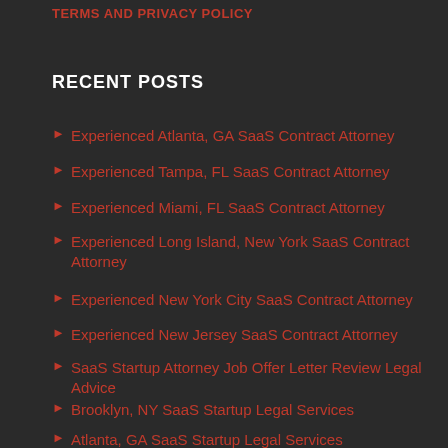TERMS AND PRIVACY POLICY
RECENT POSTS
Experienced Atlanta, GA SaaS Contract Attorney
Experienced Tampa, FL SaaS Contract Attorney
Experienced Miami, FL SaaS Contract Attorney
Experienced Long Island, New York SaaS Contract Attorney
Experienced New York City SaaS Contract Attorney
Experienced New Jersey SaaS Contract Attorney
SaaS Startup Attorney Job Offer Letter Review Legal Advice
Brooklyn, NY SaaS Startup Legal Services
Atlanta, GA SaaS Startup Legal Services